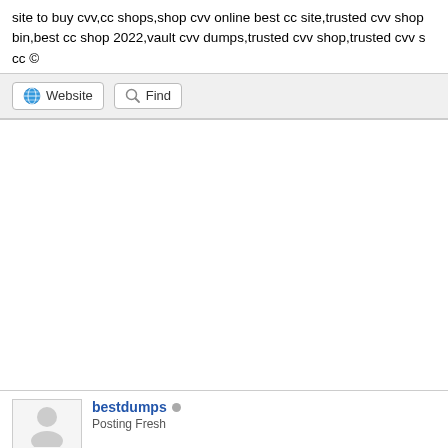site to buy cvv,cc shops,shop cvv online best cc site,trusted cvv shop bin,best cc shop 2022,vault cvv dumps,trusted cvv shop,trusted cvv s cc ©
[Figure (screenshot): Toolbar with Website and Find buttons on a light grey background]
bestdumps
Posting Fresh